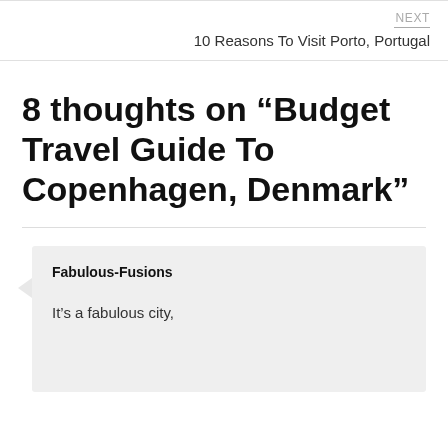NEXT
10 Reasons To Visit Porto, Portugal
8 thoughts on “Budget Travel Guide To Copenhagen, Denmark”
Fabulous-Fusions

It’s a fabulous city,